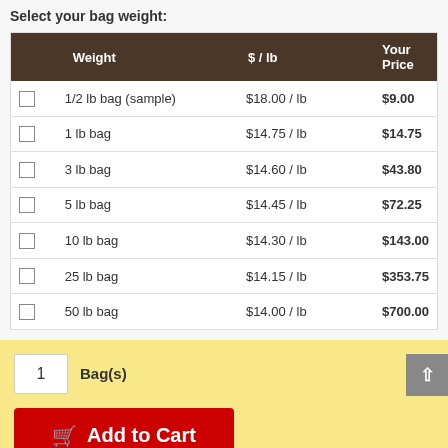Select your bag weight:
| Weight | $ / lb | Your Price |
| --- | --- | --- |
| 1/2 lb bag (sample) | $18.00 / lb | $9.00 |
| 1 lb bag | $14.75 / lb | $14.75 |
| 3 lb bag | $14.60 / lb | $43.80 |
| 5 lb bag | $14.45 / lb | $72.25 |
| 10 lb bag | $14.30 / lb | $143.00 |
| 25 lb bag | $14.15 / lb | $353.75 |
| 50 lb bag | $14.00 / lb | $700.00 |
1 Bag(s)
Add to Cart
Add to Wishlist